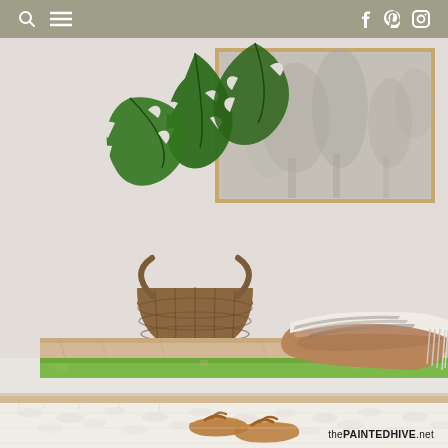Navigation bar with search, menu, facebook, pinterest, instagram icons
[Figure (photo): Interior home decor photo showing a rustic green-painted wooden bench against a light grey wall. On the bench sits a wooden dough bowl containing a striped blanket/throw, and a monstera plant in a woven basket. A large grey botanical art print in a wooden frame hangs on the wall behind. On the floor in front of the bench is a chunky white woven rug with a pair of brown leather sandals. Watermark reads 'thePAINTEDHIVE.net'.]